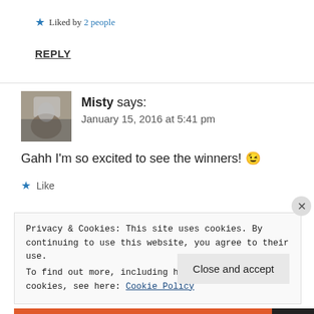★ Liked by 2 people
REPLY
Misty says: January 15, 2016 at 5:41 pm
Gahh I'm so excited to see the winners! 😉
★ Like
Privacy & Cookies: This site uses cookies. By continuing to use this website, you agree to their use. To find out more, including how to control cookies, see here: Cookie Policy
Close and accept